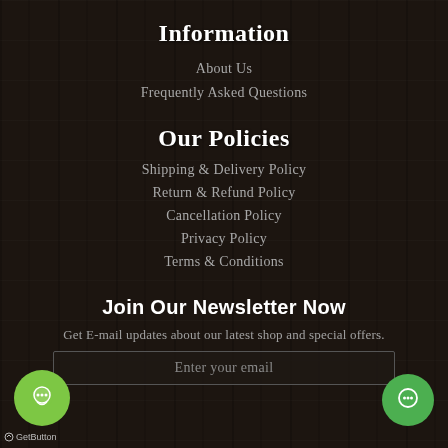Information
About Us
Frequently Asked Questions
Our Policies
Shipping & Delivery Policy
Return & Refund Policy
Cancellation Policy
Privacy Policy
Terms & Conditions
Join Our Newsletter Now
Get E-mail updates about our latest shop and special offers.
Enter your email